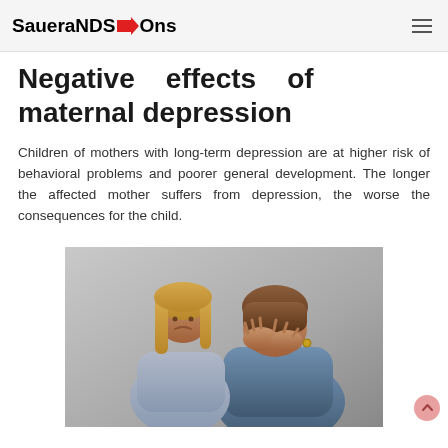SaueraNDS→Ons
Negative effects of maternal depression
Children of mothers with long-term depression are at higher risk of behavioral problems and poorer general development. The longer the affected mother suffers from depression, the worse the consequences for the child.
[Figure (photo): A sad young girl resting against a distressed adult (mother), who has her face buried in her hands. The image conveys emotional distress associated with maternal depression.]